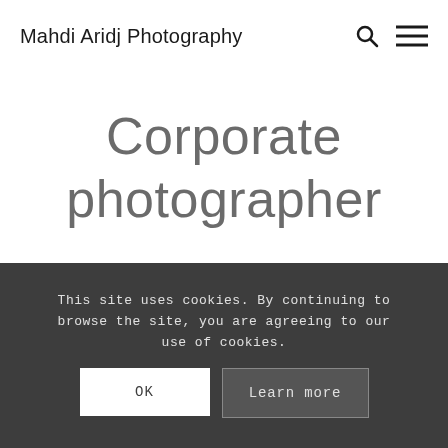Mahdi Aridj Photography
Corporate photographer
This site uses cookies. By continuing to browse the site, you are agreeing to our use of cookies.
OK   Learn more